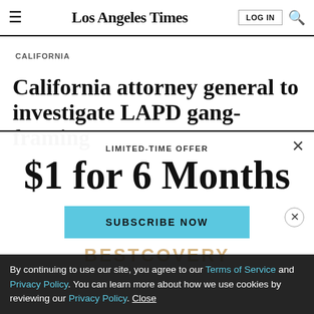Los Angeles Times
CALIFORNIA
California attorney general to investigate LAPD gang-framing
LIMITED-TIME OFFER
$1 for 6 Months
SUBSCRIBE NOW
By continuing to use our site, you agree to our Terms of Service and Privacy Policy. You can learn more about how we use cookies by reviewing our Privacy Policy. Close